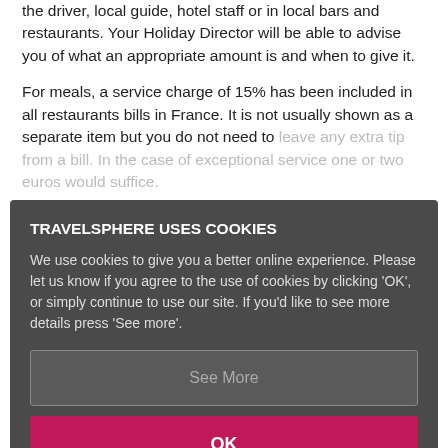the driver, local guide, hotel staff or in local bars and restaurants. Your Holiday Director will be able to advise you of what an appropriate amount is and when to give it.
For meals, a service charge of 15% has been included in all restaurants bills in France. It is not usually shown as a separate item but you do not need to leave any extra tip from a bill. In the case of exceptional service one or two euros would suffice.
If you would like to minimise your outgoings, most
Duty Free
800 cigarettes, 400 cigarillos, 200 cigars, 1kg tobacco
4L wine, 1L of spirits, 2L of alcoholic beverage's not
[Figure (screenshot): Cookie consent modal dialog from Travelsphere website. Title: 'TRAVELSPHERE USES COOKIES'. Body text: 'We use cookies to give you a better online experience. Please let us know if you agree to the use of cookies by clicking OK, or simply continue to use our site. If you’d like to see more details press See more.' Two buttons: 'See More' (grey outlined) and 'OK' (pink/magenta filled).]